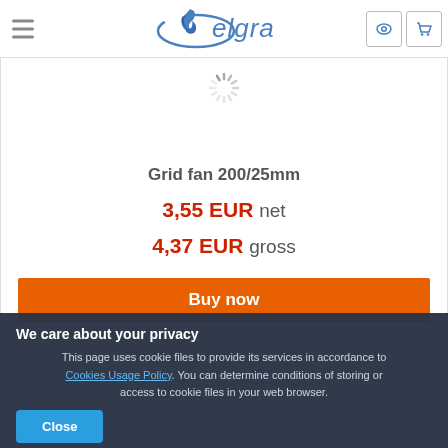[Figure (logo): Elgra logo with blue flame/dolphin icon and blue stylized text 'elgra']
[Figure (other): Loading spinner icon (grey radial lines)]
Grid fan 200/25mm
3,55 EUR net
4,37 EUR gross
Buy now
We care about your privacy
This page uses cookie files to provide its services in accordance to Cookies Usage Policy. You can determine conditions of storing or access to cookie files in your web browser.
Close